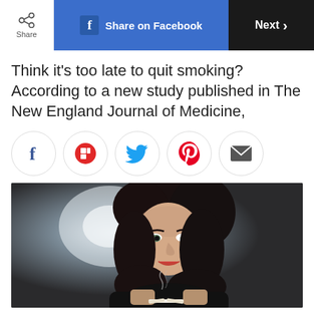Share | Share on Facebook | Next >
Think it’s too late to quit smoking? According to a new study published in The New England Journal of Medicine,
[Figure (other): Row of social sharing icons: Facebook (f), Flipboard (red), Twitter (blue bird), Pinterest (red P), Email (envelope)]
[Figure (photo): Woman with dark hair smiling and breaking a cigarette in half, studio photo with dramatic lighting against dark background]